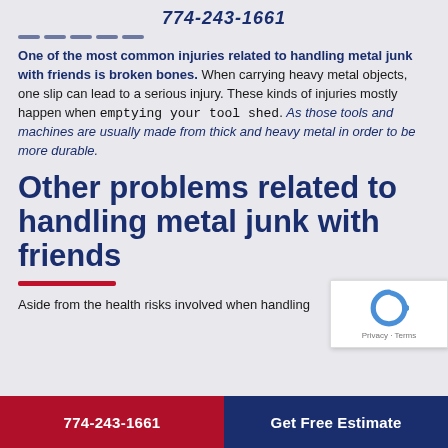774-243-1661
One of the most common injuries related to handling metal junk with friends is broken bones. When carrying heavy metal objects, one slip can lead to a serious injury. These kinds of injuries mostly happen when emptying your tool shed. As those tools and machines are usually made from thick and heavy metal in order to be more durable.
Other problems related to handling metal junk with friends
Aside from the health risks involved when handling
774-243-1661   Get Free Estimate